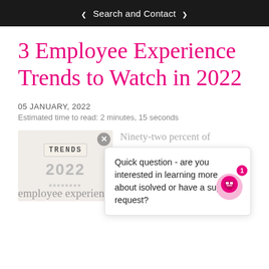Search and Contact
3 Employee Experience Trends to Watch in 2022
05 JANUARY, 2022
Estimated time to read: 2 minutes, 15 seconds
[Figure (photo): Image of wooden letter tiles spelling TRENDS and '2022' on a white surface, representing employee experience trends in 2022]
Ninety-two percent of
Quick question - are you interested in learning more about isolved or have a support request?
employee experience (EX) in 2021, yet 38